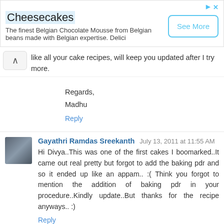[Figure (screenshot): Advertisement banner for Cheesecakes - Belgian Chocolate Mousse with See More button]
like all your cake recipes, will keep you updated after I try more.
Regards,
Madhu
Reply
Gayathri Ramdas Sreekanth July 13, 2011 at 11:55 AM
Hi Divya..This was one of the first cakes I boomarked..It came out real pretty but forgot to add the baking pdr and so it ended up like an appam.. :( Think you forgot to mention the addition of baking pdr in your procedure..Kindly update..But thanks for the recipe anyways.. :)
Reply